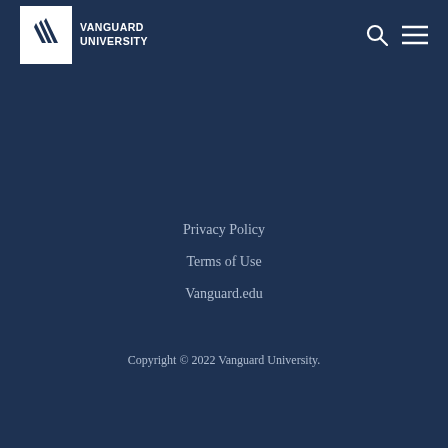[Figure (logo): Vanguard University logo: white square with stylized wing/chevron mark and text VANGUARD UNIVERSITY in white bold uppercase letters]
Privacy Policy
Terms of Use
Vanguard.edu
Copyright © 2022 Vanguard University.